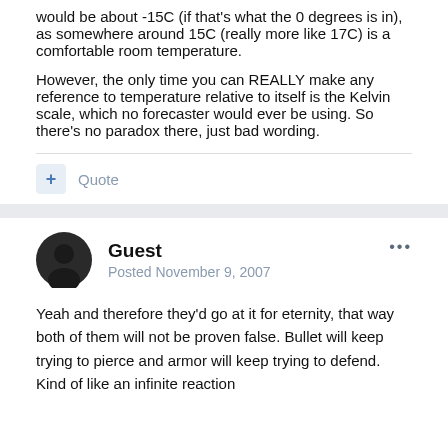would be about -15C (if that's what the 0 degrees is in), as somewhere around 15C (really more like 17C) is a comfortable room temperature.
However, the only time you can REALLY make any reference to temperature relative to itself is the Kelvin scale, which no forecaster would ever be using. So there's no paradox there, just bad wording.
+ Quote
Guest
Posted November 9, 2007
Yeah and therefore they'd go at it for eternity, that way both of them will not be proven false. Bullet will keep trying to pierce and armor will keep trying to defend. Kind of like an infinite reaction